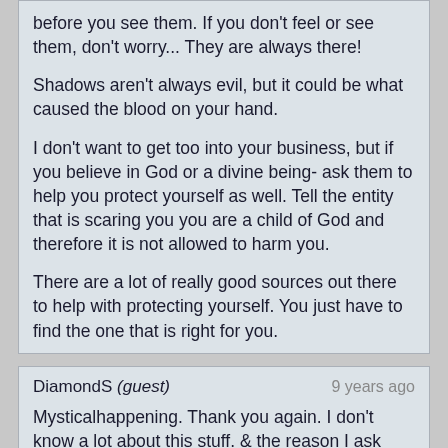before you see them. If you don't feel or see them, don't worry... They are always there!
Shadows aren't always evil, but it could be what caused the blood on your hand.
I don't want to get too into your business, but if you believe in God or a divine being- ask them to help you protect yourself as well. Tell the entity that is scaring you you are a child of God and therefore it is not allowed to harm you.
There are a lot of really good sources out there to help with protecting yourself. You just have to find the one that is right for you.
DiamondS (guest)
9 years ago
Mysticalhappening. Thank you again. I don't know a lot about this stuff. & the reason I ask about angels & spirit guides is I used to see this blonde girl spirit and she would try to help me, one person suggested she was a spirit guide. I tried meditating & asking to see my spirit guide & nothing. Also you confirmed my feeling about the blood on my hand and stuff being